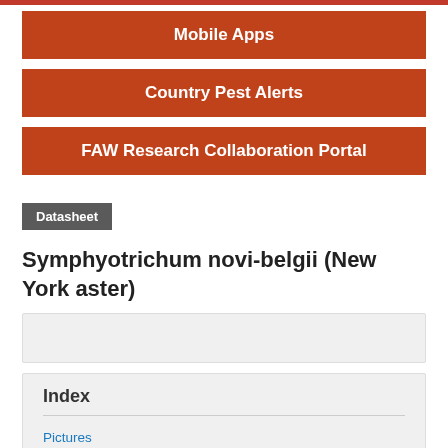Mobile Apps
Country Pest Alerts
FAW Research Collaboration Portal
Datasheet
Symphyotrichum novi-belgii (New York aster)
Index
Pictures
Identity
Summary of Invasiveness
Taxonomic Tree
Notes on Taxonomy and Nomenclature
Description